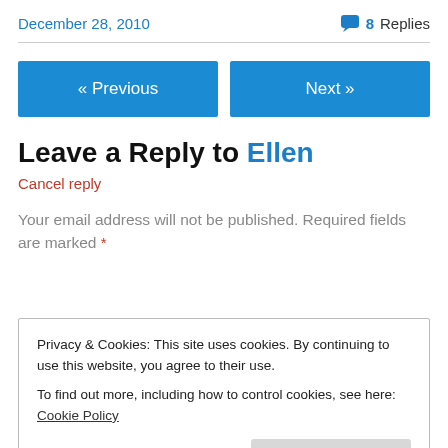December 28, 2010    💬 8 Replies
« Previous   Next »
Leave a Reply to Ellen
Cancel reply
Your email address will not be published. Required fields are marked *
Privacy & Cookies: This site uses cookies. By continuing to use this website, you agree to their use.
To find out more, including how to control cookies, see here: Cookie Policy
Close and accept